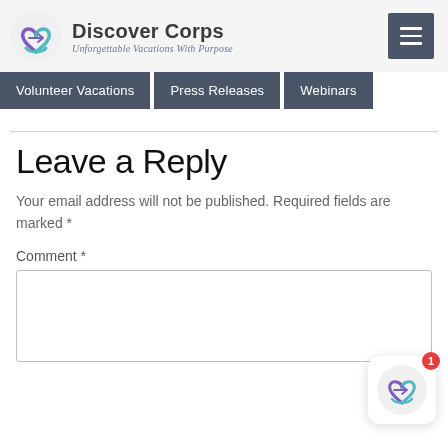[Figure (logo): Discover Corps logo with heart/infinity shaped icon in purple and teal, company name 'Discover Corps' and tagline 'Unforgettable Vacations With Purpose']
Volunteer Vacations | Press Releases | Webinars
Leave a Reply
Your email address will not be published. Required fields are marked *
Comment *